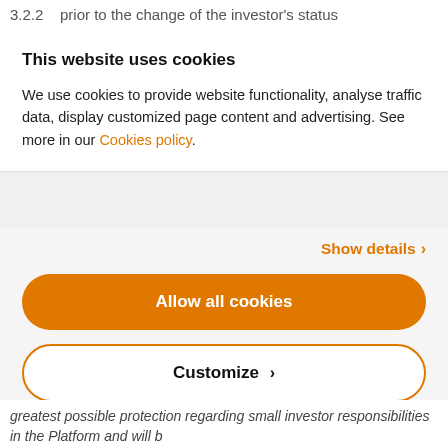3.2.2   prior to the change of the investor's status
This website uses cookies
We use cookies to provide website functionality, analyse traffic data, display customized page content and advertising. See more in our Cookies policy.
Show details ›
Allow all cookies
Customize ›
Powered by Cookiebot by Usercentrics
greatest possible protection regarding small investor responsibilities in the Platform and will be